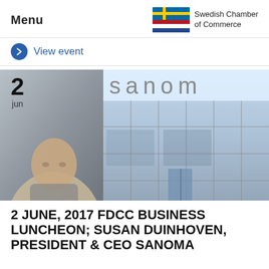Menu | Swedish Chamber of Commerce
View event
[Figure (photo): Date label showing '2 jun' alongside two photos: a person (partial face) on the left and a Sanoma building exterior with glass facade on the right.]
2 JUNE, 2017 FDCC BUSINESS LUNCHEON; SUSAN DUINHOVEN, PRESIDENT & CEO SANOMA